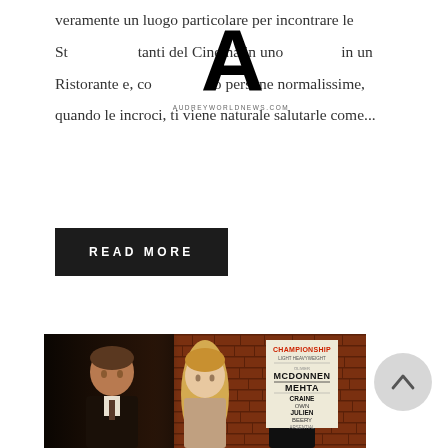veramente un luogo particolare per incontrare le St [logo] tanti del Cinema in uno [logo] in un Ristorante e, co [logo] o persone normalissime, quando le incroci, ti viene naturale salutarle come...
[Figure (logo): Large black letter A logo with text AUDREYWORLDNEWS.COM below it, overlaid on the text block]
READ MORE
[Figure (photo): Photo of three people (two men and a woman) standing in front of a brick wall with a Championship boxing poster visible. The poster reads CHAMPIONSHIP, LIGHT HEAVYWEIGHT, MCDONNEN, MEHTA, CRAINE, OWN, JULIEN, BEERY, ARSENTIAL.]
[Figure (other): Circular scroll-to-top button with upward arrow]